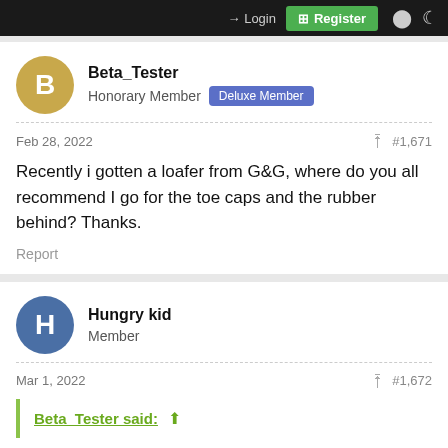Login | Register
Beta_Tester
Honorary Member · Deluxe Member
Feb 28, 2022 · #1,671
Recently i gotten a loafer from G&G, where do you all recommend I go for the toe caps and the rubber behind? Thanks.
Report
Hungry kid
Member
Mar 1, 2022 · #1,672
Beta_Tester said: